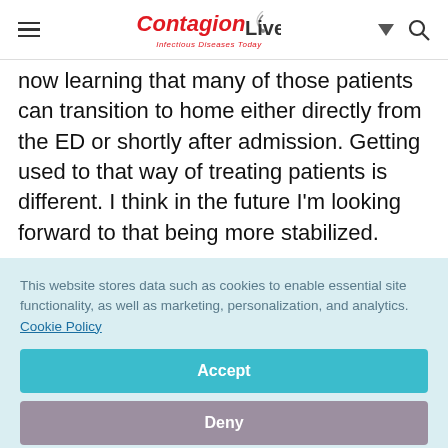ContagionLive — Infectious Diseases Today
now learning that many of those patients can transition to home either directly from the ED or shortly after admission. Getting used to that way of treating patients is different. I think in the future I'm looking forward to that being more stabilized.
This website stores data such as cookies to enable essential site functionality, as well as marketing, personalization, and analytics. Cookie Policy
Accept
Deny